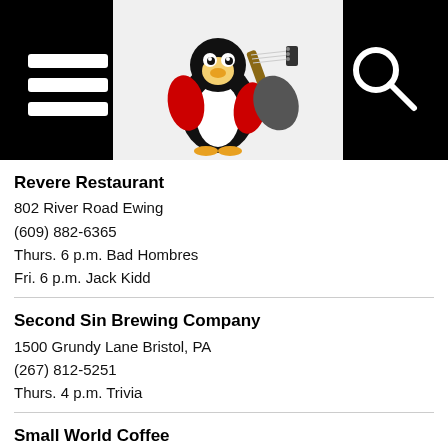[Figure (logo): Website header with hamburger menu icon on left, a penguin playing guitar logo in center on light background, and search icon on right, all on black background]
Revere Restaurant
802 River Road Ewing
(609) 882-6365
Thurs. 6 p.m. Bad Hombres
Fri. 6 p.m. Jack Kidd
Second Sin Brewing Company
1500 Grundy Lane Bristol, PA
(267) 812-5251
Thurs. 4 p.m. Trivia
Small World Coffee
14 Witherspoon Street Princeton
(609) 924-4377 x2
Sat. 6 p.m. Astronaada
Stars & Stripes Harley Davidson
600 South Flowers Mill Road Langhorne, PA
(215) 752-9499